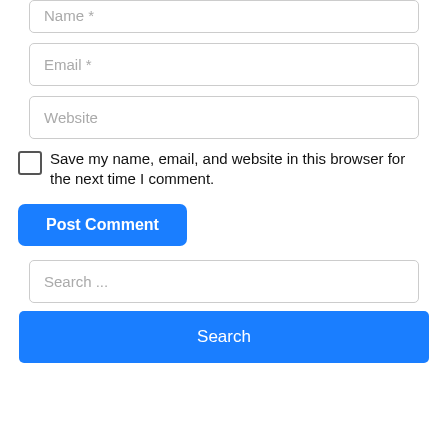Name *
Email *
Website
Save my name, email, and website in this browser for the next time I comment.
Post Comment
Search ...
Search